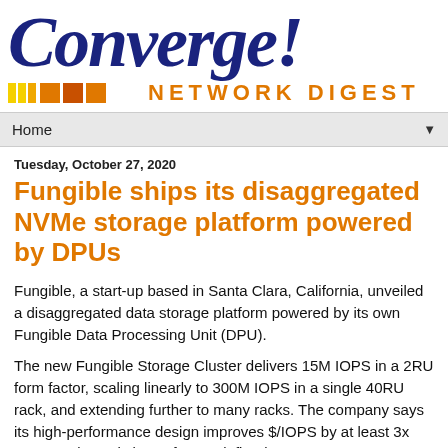[Figure (logo): Converge! Network Digest logo — 'Converge!' in large bold dark navy italic serif font, below it colored squares (yellow, orange shades) followed by 'NETWORK DIGEST' in bold orange uppercase sans-serif letters.]
Home ▼
Tuesday, October 27, 2020
Fungible ships its disaggregated NVMe storage platform powered by DPUs
Fungible, a start-up based in Santa Clara, California, unveiled a disaggregated data storage platform powered by its own Fungible Data Processing Unit (DPU).
The new Fungible Storage Cluster delivers 15M IOPS in a 2RU form factor, scaling linearly to 300M IOPS in a single 40RU rack, and extending further to many racks. The company says its high-performance design improves $/IOPS by at least 3x compared to existing software-defined storage